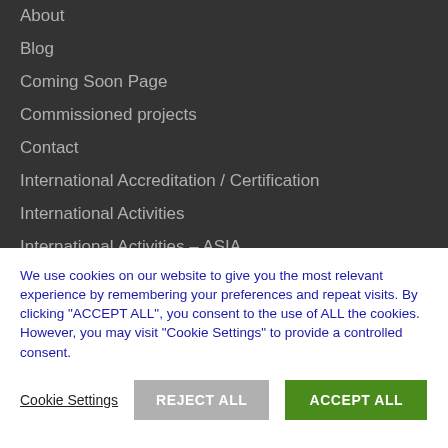About
Blog
Coming Soon Page
Commissioned projects
Contact
International Accreditation / Certification
International Activities
International Activities – ASIA
International Activities – EUROPE
International Activities – World
We use cookies on our website to give you the most relevant experience by remembering your preferences and repeat visits. By clicking "ACCEPT ALL", you consent to the use of ALL the cookies. However, you may visit "Cookie Settings" to provide a controlled consent.
Cookie Settings | REJECT ALL | ACCEPT ALL